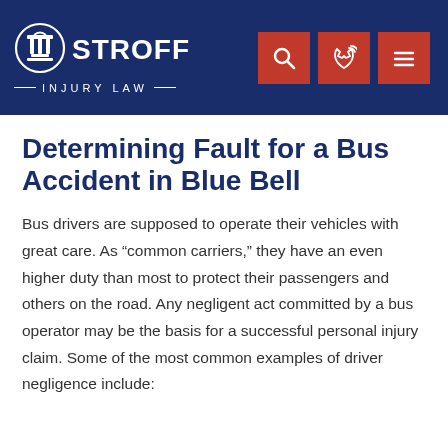Stroff Injury Law — header with logo and navigation icons
Determining Fault for a Bus Accident in Blue Bell
Bus drivers are supposed to operate their vehicles with great care. As “common carriers,” they have an even higher duty than most to protect their passengers and others on the road. Any negligent act committed by a bus operator may be the basis for a successful personal injury claim. Some of the most common examples of driver negligence include: